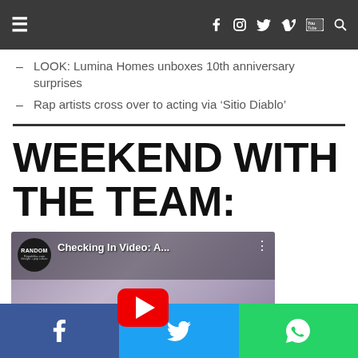Navigation bar with menu, social icons (Facebook, Instagram, Twitter, Vimeo, YouTube, Search)
LOOK: Lumina Homes unboxes 10th anniversary surprises
Rap artists cross over to acting via 'Sitio Diablo'
WEEKEND WITH THE TEAM:
[Figure (screenshot): YouTube video thumbnail showing 'Checking In Video: A...' from Random Republika channel with a red play button overlay and people in the background]
Social share buttons: Facebook, Twitter, WhatsApp